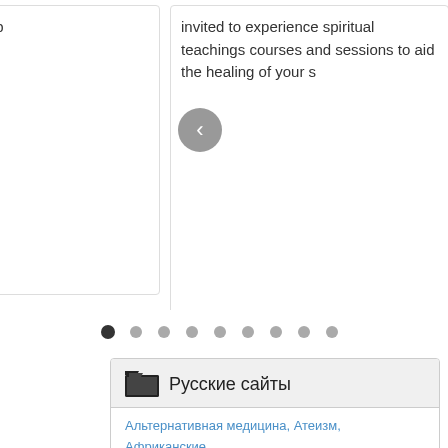[Figure (screenshot): A horizontal carousel/slider widget showing three partially visible content cards with left and right navigation arrows. Left card shows text 'the most popular web directory on the web'. Center card shows text 'invited to experience spiritual teachings courses and sessions to aid the healing of your s'. Right card shows Cyrillic text about extrasensory topics (экстрас парапс ясновид магия и ченнели). Below the cards are ten navigation dots, the first one being filled/active.]
Русские сайты
Альтернативная медицина, Атеизм, Африканские, Бахаи, Буддиам, Даосизм, Джайниизм, Духовно...